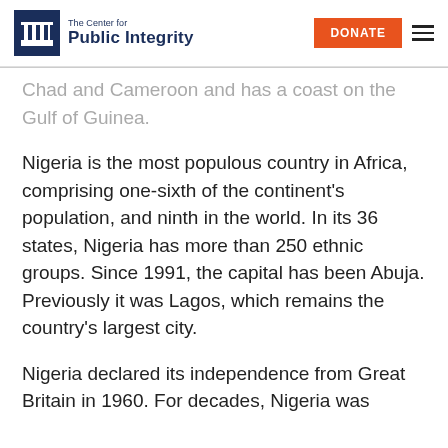The Center for Public Integrity | DONATE
Chad and Cameroon and has a coast on the Gulf of Guinea.
Nigeria is the most populous country in Africa, comprising one-sixth of the continent's population, and ninth in the world. In its 36 states, Nigeria has more than 250 ethnic groups. Since 1991, the capital has been Abuja. Previously it was Lagos, which remains the country's largest city.
Nigeria declared its independence from Great Britain in 1960. For decades, Nigeria was